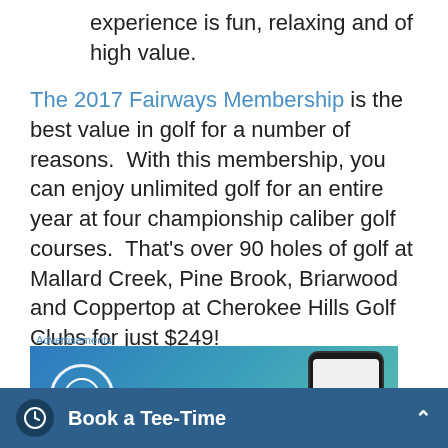experience is fun, relaxing and of high value.
The 2017 Fairways Membership is the best value in golf for a number of reasons. With this membership, you can enjoy unlimited golf for an entire year at four championship caliber golf courses. That's over 90 holes of golf at Mallard Creek, Pine Brook, Briarwood and Coppertop at Cherokee Hills Golf Clubs for just $249!
Advertisements
[Figure (screenshot): Advertisement banner with WordPress logo and phone mockup on a blue-teal gradient background]
Book a Tee-Time